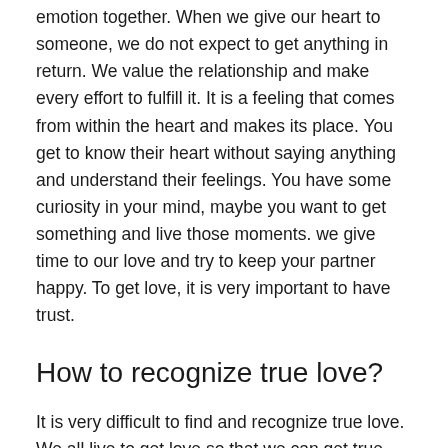emotion together. When we give our heart to someone, we do not expect to get anything in return. We value the relationship and make every effort to fulfill it. It is a feeling that comes from within the heart and makes its place. You get to know their heart without saying anything and understand their feelings. You have some curiosity in your mind, maybe you want to get something and live those moments. we give time to our love and try to keep your partner happy. To get love, it is very important to have trust.
How to recognize true love?
It is very difficult to find and recognize true love. We all live to get love so that we can get true love. This is a precious gift that needs to be understood before getting it. Love is austerity, which teaches us the importance of life. Achieving true love is equivalent to finding God, it teaches us the